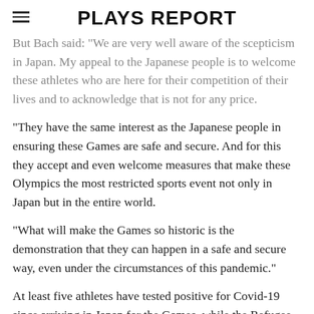PLAYS REPORT
But Bach said: "We are very well aware of the scepticism in Japan. My appeal to the Japanese people is to welcome these athletes who are here for their competition of their lives and to acknowledge that is not for any price.
“They have the same interest as the Japanese people in ensuring these Games are safe and secure. And for this they accept and even welcome measures that make these Olympics the most restricted sports event not only in Japan but in the entire world.
“What will make the Games so historic is the demonstration that they can happen in a safe and secure way, even under the circumstances of this pandemic.”
At least five athletes have tested positive for Covid-19 since arriving in Japan for the Games, while the Refugee Olympic Team was forced to delay travelling to Tokyo after one of its delegation